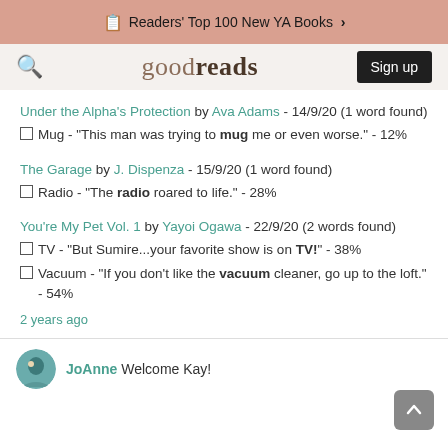Readers' Top 100 New YA Books >
goodreads Sign up
Under the Alpha's Protection by Ava Adams - 14/9/20 (1 word found)
☐ Mug - "This man was trying to mug me or even worse." - 12%
The Garage by J. Dispenza - 15/9/20 (1 word found)
☐ Radio - "The radio roared to life." - 28%
You're My Pet Vol. 1 by Yayoi Ogawa - 22/9/20 (2 words found)
☐ TV - "But Sumire...your favorite show is on TV!" - 38%
☐ Vacuum - "If you don't like the vacuum cleaner, go up to the loft." - 54%
2 years ago
JoAnne Welcome Kay!